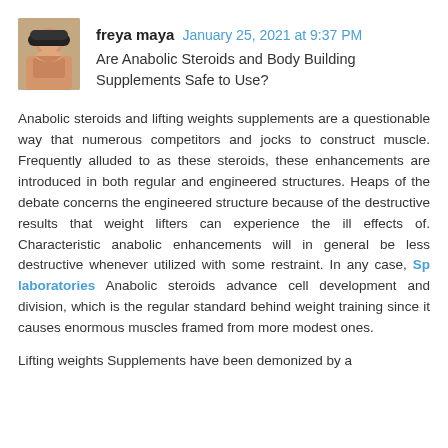[Figure (photo): Avatar photo of user freya maya - a woman with long hair wearing a dark hat]
freya maya  January 25, 2021 at 9:37 PM
Are Anabolic Steroids and Body Building Supplements Safe to Use?
Anabolic steroids and lifting weights supplements are a questionable way that numerous competitors and jocks to construct muscle. Frequently alluded to as these steroids, these enhancements are introduced in both regular and engineered structures. Heaps of the debate concerns the engineered structure because of the destructive results that weight lifters can experience the ill effects of. Characteristic anabolic enhancements will in general be less destructive whenever utilized with some restraint. In any case, Sp laboratories Anabolic steroids advance cell development and division, which is the regular standard behind weight training since it causes enormous muscles framed from more modest ones.
Lifting weights Supplements have been demonized by a ...